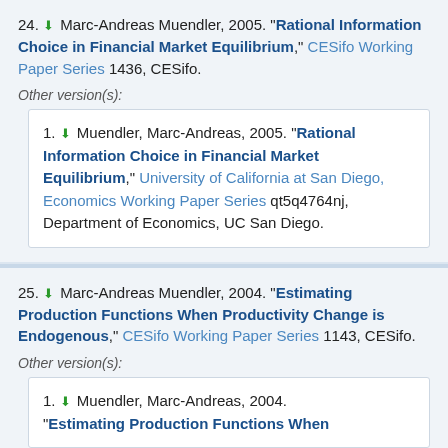24. Marc-Andreas Muendler, 2005. "Rational Information Choice in Financial Market Equilibrium," CESifo Working Paper Series 1436, CESifo.
Other version(s):
1. Muendler, Marc-Andreas, 2005. "Rational Information Choice in Financial Market Equilibrium," University of California at San Diego, Economics Working Paper Series qt5q4764nj, Department of Economics, UC San Diego.
25. Marc-Andreas Muendler, 2004. "Estimating Production Functions When Productivity Change is Endogenous," CESifo Working Paper Series 1143, CESifo.
Other version(s):
1. Muendler, Marc-Andreas, 2004. "Estimating Production Functions When...